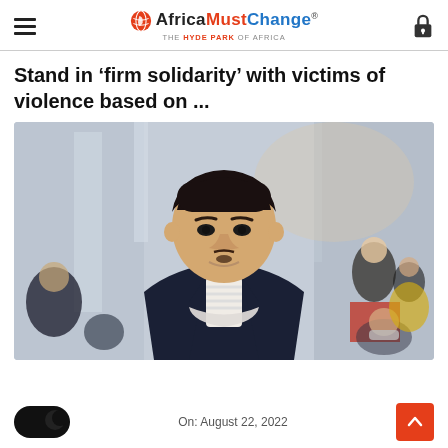AfricaMustChange® — THE HYDE PARK OF AFRICA
Stand in 'firm solidarity' with victims of violence based on ...
[Figure (photo): A young man with dark hair wearing a navy blue jacket over a white striped shirt, face mask pulled down below chin, standing in a crowded indoor space, likely an airport or mall. Other people with masks visible in the background.]
On: August 22, 2022